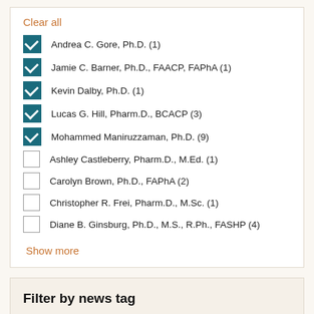Clear all
Andrea C. Gore, Ph.D. (1)
Jamie C. Barner, Ph.D., FAACP, FAPhA (1)
Kevin Dalby, Ph.D. (1)
Lucas G. Hill, Pharm.D., BCACP (3)
Mohammed Maniruzzaman, Ph.D. (9)
Ashley Castleberry, Pharm.D., M.Ed. (1)
Carolyn Brown, Ph.D., FAPhA (2)
Christopher R. Frei, Pharm.D., M.Sc. (1)
Diane B. Ginsburg, Ph.D., M.S., R.Ph., FASHP (4)
Show more
Filter by news tag